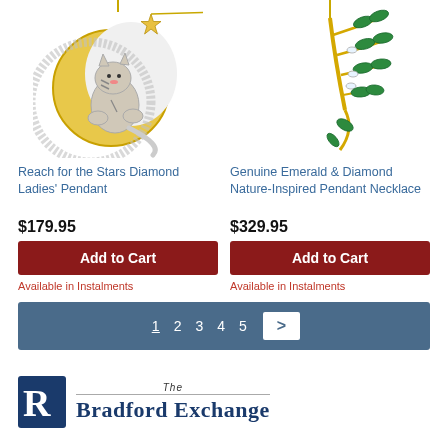[Figure (photo): Photo of a cat pendant on a crescent moon with diamonds and a star charm, gold-toned]
[Figure (photo): Photo of a gold-toned nature-inspired pendant necklace with green emerald marquise stones and diamond accents on a leaf/branch design]
Reach for the Stars Diamond Ladies' Pendant
Genuine Emerald & Diamond Nature-Inspired Pendant Necklace
$179.95
$329.95
Add to Cart
Add to Cart
Available in Instalments
Available in Instalments
1 2 3 4 5 >
[Figure (logo): The Bradford Exchange logo — stylized R monogram with 'The Bradford Exchange' text]